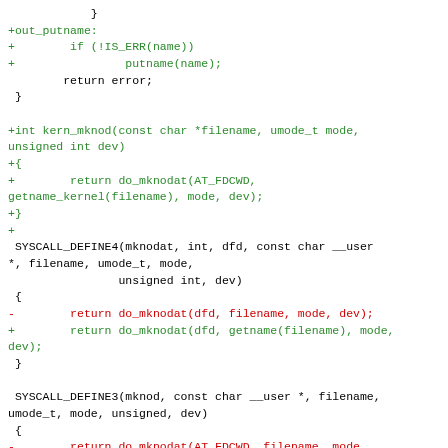Code diff showing kern_mknod and SYSCALL_DEFINE4/SYSCALL_DEFINE3 with additions (green) and removals (red) for filename handling changes.